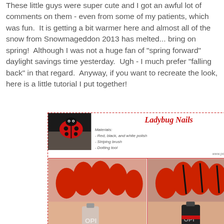These little guys were super cute and I got an awful lot of comments on them - even from some of my patients, which was fun.  It is getting a bit warmer here and almost all of the snow from Snowmageddon 2013 has melted... bring on spring!  Although I was not a huge fan of "spring forward" daylight savings time yesterday.  Ugh - I much prefer "falling back" in that regard.  Anyway, if you want to recreate the look, here is a little tutorial I put together!
[Figure (photo): Ladybug Nails tutorial image with title header showing materials needed (red, black, and white polish; striping brush; dotting tool), a thumbnail of finished ladybug nail art, and step-by-step photos numbered 1 and 2 showing red nails and then black stripe application. Bottom row shows additional steps in progress.]